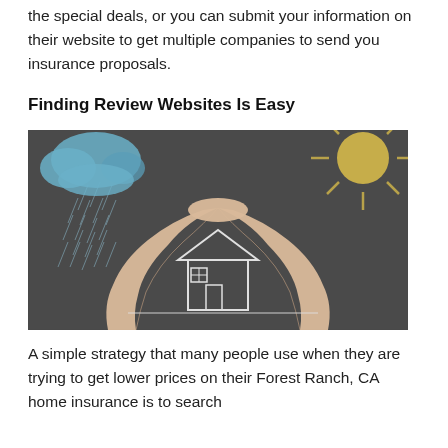the special deals, or you can submit your information on their website to get multiple companies to send you insurance proposals.
Finding Review Websites Is Easy
[Figure (photo): Hands forming a protective arch over a chalk-drawn house on a blackboard, with a chalk sun and rain cloud on either side.]
A simple strategy that many people use when they are trying to get lower prices on their Forest Ranch, CA home insurance is to search for companies that have already been...